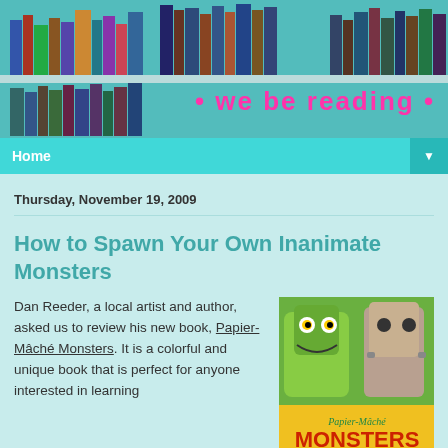[Figure (photo): Header image showing a bookshelf filled with books, with the blog title 'we be reading' overlaid in pink text with dots on either side]
Home
Thursday, November 19, 2009
How to Spawn Your Own Inanimate Monsters
Dan Reeder, a local artist and author, asked us to review his new book, Papier-Mâché Monsters. It is a colorful and unique book that is perfect for anyone interested in learning
[Figure (photo): Book cover of Papier-Mâché Monsters showing monster figurines on top half and yellow background with red text 'MONSTERS' on the bottom half]